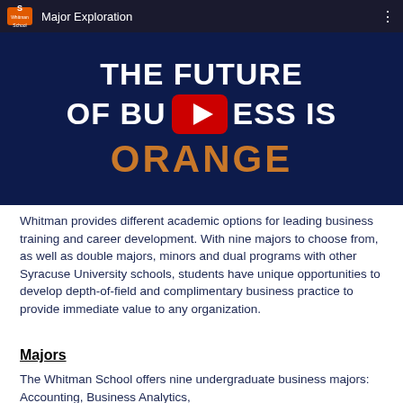[Figure (screenshot): YouTube video thumbnail from Whitman School channel titled 'Major Exploration'. The video shows a dark navy blue background with bold white text reading 'THE FUTURE OF BUSINESS IS' and large orange text 'ORANGE', with a YouTube play button overlay in the center.]
Whitman provides different academic options for leading business training and career development. With nine majors to choose from, as well as double majors, minors and dual programs with other Syracuse University schools, students have unique opportunities to develop depth-of-field and complimentary business practice to provide immediate value to any organization.
Majors
The Whitman School offers nine undergraduate business majors: Accounting, Business Analytics,